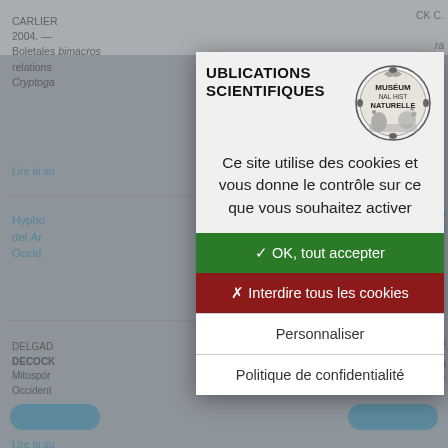[Figure (screenshot): Background webpage content showing scientific publication entries from Museum National Histoire Naturelle, partially visible behind a cookie consent modal dialog. Contains bibliographic entries about Boletales and Hyphomycetes, with 'Lire la suite' links and navigation buttons.]
Ce site utilise des cookies et vous donne le contrôle sur ce que vous souhaitez activer
✓ OK, tout accepter
✗ Interdire tous les cookies
Personnaliser
Politique de confidentialité